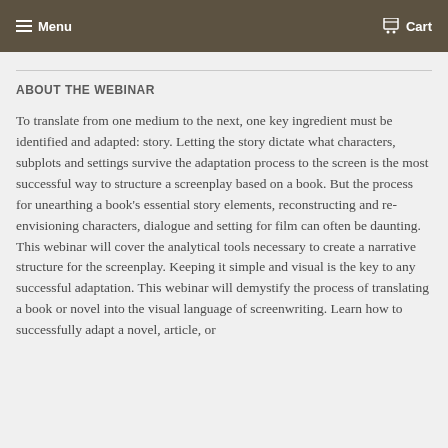Menu  Cart
ABOUT THE WEBINAR
To translate from one medium to the next, one key ingredient must be identified and adapted: story. Letting the story dictate what characters, subplots and settings survive the adaptation process to the screen is the most successful way to structure a screenplay based on a book. But the process for unearthing a book's essential story elements, reconstructing and re-envisioning characters, dialogue and setting for film can often be daunting. This webinar will cover the analytical tools necessary to create a narrative structure for the screenplay. Keeping it simple and visual is the key to any successful adaptation. This webinar will demystify the process of translating a book or novel into the visual language of screenwriting. Learn how to successfully adapt a novel, article, or